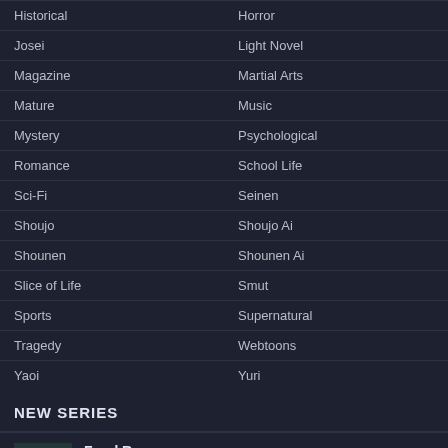| Col1 | Col2 |
| --- | --- |
| Historical | Horror |
| Josei | Light Novel |
| Magazine | Martial Arts |
| Mature | Music |
| Mystery | Psychological |
| Romance | School Life |
| Sci-Fi | Seinen |
| Shoujo | Shoujo Ai |
| Shounen | Shounen Ai |
| Slice of Life | Smut |
| Sports | Supernatural |
| Tragedy | Webtoons |
| Yaoi | Yuri |
NEW SERIES
[Figure (illustration): Manga cover thumbnail for Food Runner]
Food Runner
Genres: Action, Adventure, Drama, Fantasy, Shounen
2021